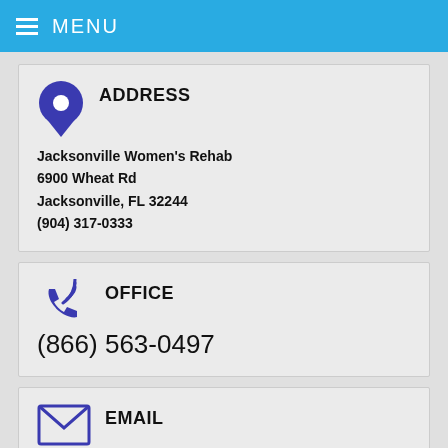MENU
ADDRESS
Jacksonville Women's Rehab
6900 Wheat Rd
Jacksonville, FL 32244
(904) 317-0333
OFFICE
(866) 563-0497
EMAIL
Info@Teenchallenge.Cc